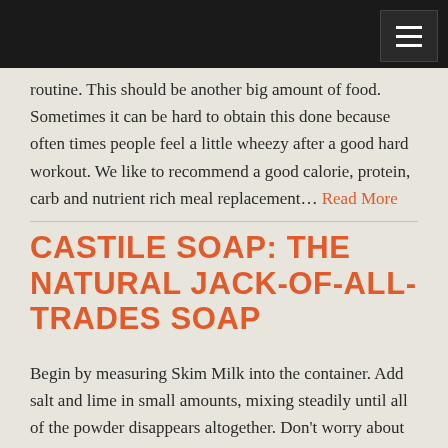routine. This should be another big amount of food. Sometimes it can be hard to obtain this done because often times people feel a little wheezy after a good hard workout. We like to recommend a good calorie, protein, carb and nutrient rich meal replacement... Read More
CASTILE SOAP: THE NATURAL JACK-OF-ALL-TRADES SOAP
Begin by measuring Skim Milk into the container. Add salt and lime in small amounts, mixing steadily until all of the powder disappears altogether. Don't worry about lumps in that point; continue stirring until the mixture sets out to thicken. Merely milk paint so distinct from